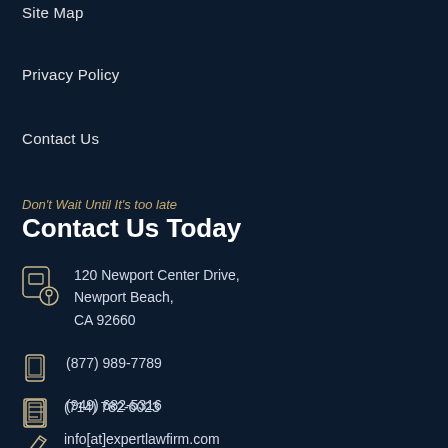Site Map
Privacy Policy
Contact Us
Don't Wait Until It's too late
Contact Us Today
120 Newport Center Drive, Newport Beach, CA 92660
(877) 989-7789
(949) 682-5316
(714) 782-6023
info[at]expertlawfirm.com